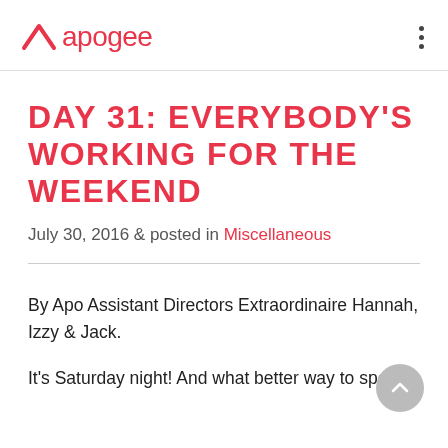apogee
DAY 31: EVERYBODY'S WORKING FOR THE WEEKEND
July 30, 2016 & posted in Miscellaneous
By Apo Assistant Directors Extraordinaire Hannah, Izzy & Jack.
It's Saturday night! And what better way to spend